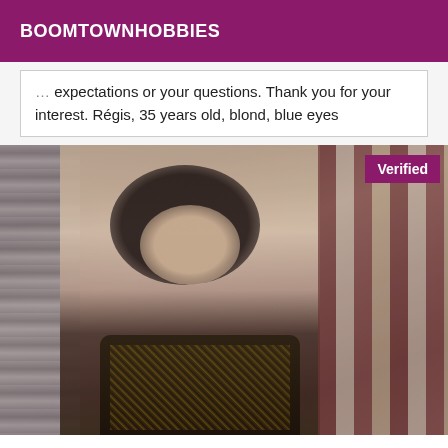BOOMTOWNHOBBIES
expectations or your questions. Thank you for your interest. Régis, 35 years old, blond, blue eyes
[Figure (photo): A person with dark hair wearing an off-shoulder black and gold patterned top, smiling, with curtains and geometric patterned wall in background. A purple 'Verified' badge appears in the top right corner.]